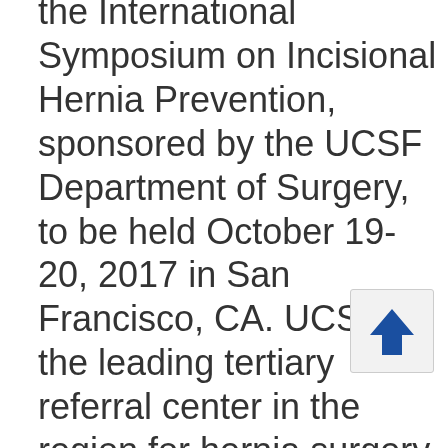the International Symposium on Incisional Hernia Prevention, sponsored by the UCSF Department of Surgery, to be held October 19-20, 2017 in San Francisco, CA. UCSF is the leading tertiary referral center in the region for hernia surgery, performing nearly 700 procedures annually, 350 of those for ventral (incisional) hernias that are frequently the most challenging. Dr. Harris, a pioneer in the management of complex  [...]